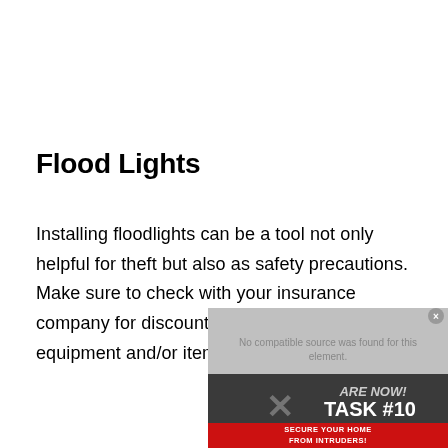Flood Lights
Installing floodlights can be a tool not only helpful for theft but also as safety precautions. Make sure to check with your insurance company for discounts for having certain equipment and/or items installed and
[Figure (screenshot): Partially visible video overlay with text 'No compatible source was found for this element.' and a red banner showing 'TASK #10 SECURE YOUR HOME FROM INTRUDERS!' with an X close button.]